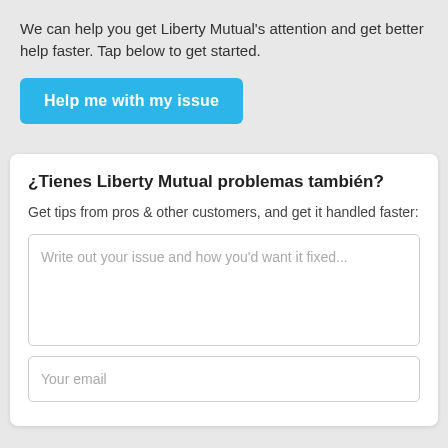We can help you get Liberty Mutual's attention and get better help faster. Tap below to get started.
Help me with my issue
¿Tienes Liberty Mutual problemas también?
Get tips from pros & other customers, and get it handled faster:
Write out your issue and how you'd want it fixed...
Your email